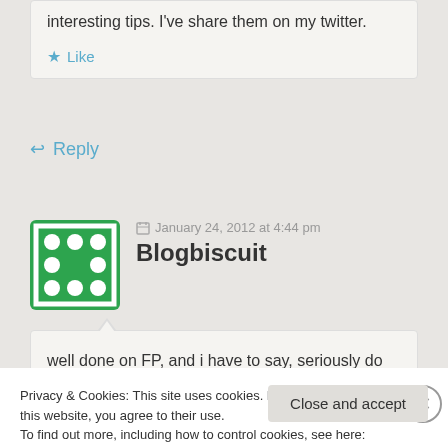interesting tips. I've share them on my twitter.
★ Like
↩ Reply
January 24, 2012 at 4:44 pm
Blogbiscuit
well done on FP, and i have to say, seriously do
Privacy & Cookies: This site uses cookies. By continuing to use this website, you agree to their use.
To find out more, including how to control cookies, see here: Cookie Policy
Close and accept